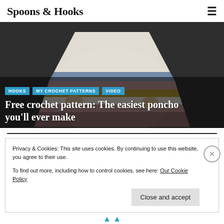Spoons & Hooks
[Figure (photo): Person holding a colorful striped crochet poncho with granny square patterns in cream, blue, pink, yellow, and mauve tones against a dark background.]
HOOKS   MY CROCHET PATTERNS   VIDEO
Free crochet pattern: The easiest poncho you'll ever make
Privacy & Cookies: This site uses cookies. By continuing to use this website, you agree to their use.
To find out more, including how to control cookies, see here: Our Cookie Policy
Close and accept